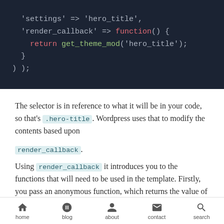[Figure (screenshot): Code block on dark navy background showing PHP/WordPress code snippet with 'settings' => 'hero_title', 'render_callback' => function() { return get_theme_mod('hero_title'); } }]
The selector is in reference to what it will be in your code, so that's .hero-title. Wordpress uses that to modify the contents based upon render_callback.
Using render_callback it introduces you to the functions that will need to be used in the template. Firstly, you pass an anonymous function, which returns the value of
home  blog  about  contact  search